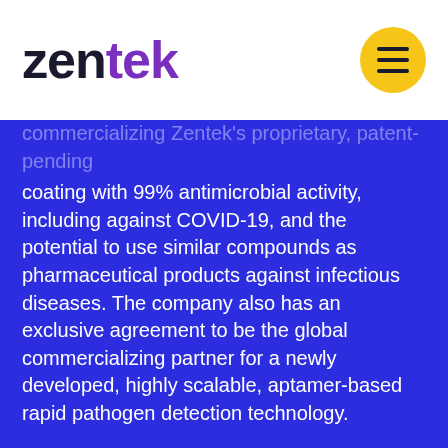zentek
commercializing Zentek's proprietary, patent-pending coating with 99% antimicrobial activity, including against COVID-19, and the potential to use similar compounds as pharmaceutical products against infectious diseases. The company also has an exclusive agreement to be the global commercializing partner for a newly developed, highly scalable, aptamer-based rapid pathogen detection technology.
To find out more about Zentek Ltd., please visit our website at www.zentek.com. A copy of this news release and all material documents in respect of the Company may be obtained on Zentek's SEDAR profile at www.sedar.com.